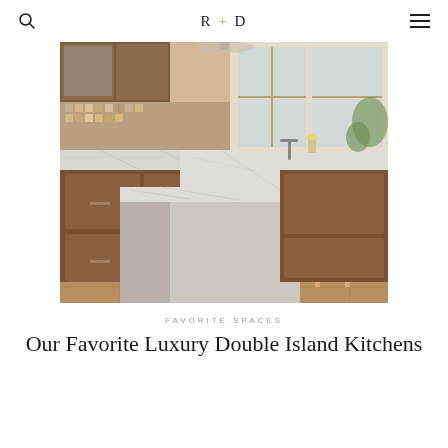R + D
[Figure (photo): Luxury kitchen interior featuring a large white marble double island, warm walnut wood cabinetry, bar stools, decorative backsplash tiles, and bright windows with greenery]
FAVORITE SPACES
Our Favorite Luxury Double Island Kitchens